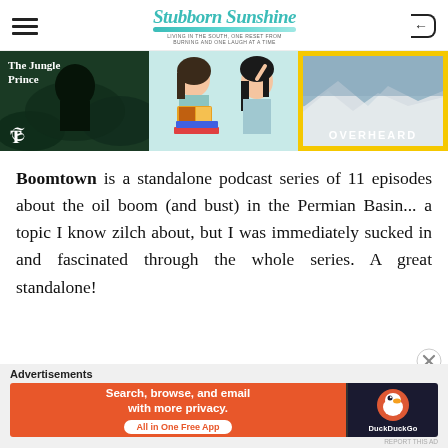Stubborn Sunshine
[Figure (illustration): Three podcast cover images side by side: 'The Jungle Prince' (NYT, dark green with silhouette), a book podcast with illustrated women reading, and 'Overheard' (National Geographic, yellow border with snowy landscape)]
Boomtown is a standalone podcast series of 11 episodes about the oil boom (and bust) in the Permian Basin... a topic I know zilch about, but I was immediately sucked in and fascinated through the whole series. A great standalone!
[Figure (other): DuckDuckGo advertisement banner: 'Search, browse, and email with more privacy. All in One Free App' on orange background with DuckDuckGo logo on dark background]